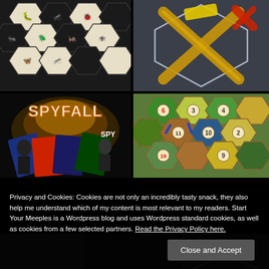[Figure (photo): Hexagonal board game tiles featuring various insects including beetles, ladybug, spider, ant, in black and cream colors]
[Figure (photo): Board game pieces forming an X shape with yellow/gold and red ribbon-like pieces on dark background with hexagonal border]
[Figure (photo): Spyfall board game box and cards spread out, showing spy-themed illustrations]
[Figure (photo): Settlers of Catan board game tiles showing hexagonal terrain tiles with numbers 6, 3, 11, 10, 9 etc.]
Privacy and Cookies: Cookies are not only an incredibly tasty snack, they also help me understand which of my content is most relevant to my readers. Start Your Meeples is a Wordpress blog and uses Wordpress standard cookies, as well as cookies from a few selected partners. Read the Privacy Policy here.